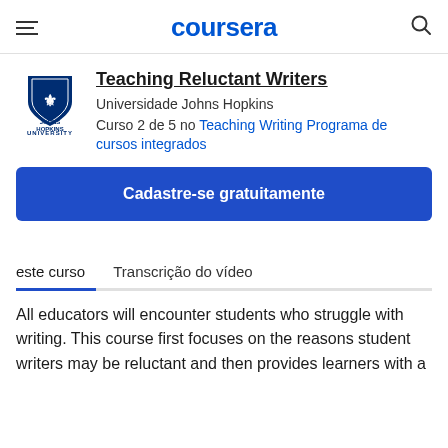coursera
Teaching Reluctant Writers
Universidade Johns Hopkins
Curso 2 de 5 no Teaching Writing Programa de cursos integrados
Cadastre-se gratuitamente
este curso
Transcrição do vídeo
All educators will encounter students who struggle with writing. This course first focuses on the reasons student writers may be reluctant and then provides learners with a